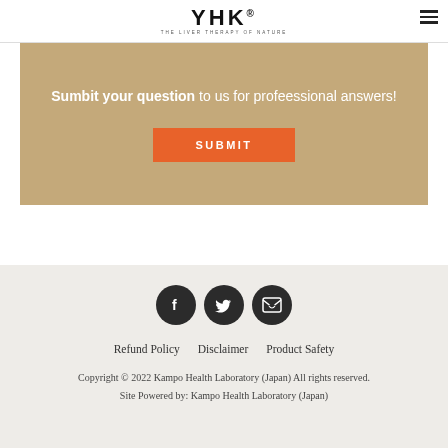YHK THE LIVER THERAPY OF NATURE
Sumbit your question to us for profeessional answers!
SUBMIT
[Figure (illustration): Three social media icons: Facebook (f), Twitter (bird), and email (envelope), each in a dark circular button]
Refund Policy   Disclaimer   Product Safety
Copyright © 2022 Kampo Health Laboratory (Japan) All rights reserved. Site Powered by: Kampo Health Laboratory (Japan)